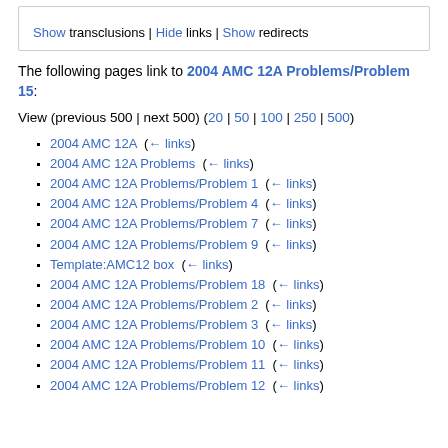Show transclusions | Hide links | Show redirects
The following pages link to 2004 AMC 12A Problems/Problem 15:
View (previous 500 | next 500) (20 | 50 | 100 | 250 | 500)
2004 AMC 12A  (← links)
2004 AMC 12A Problems  (← links)
2004 AMC 12A Problems/Problem 1  (← links)
2004 AMC 12A Problems/Problem 4  (← links)
2004 AMC 12A Problems/Problem 7  (← links)
2004 AMC 12A Problems/Problem 9  (← links)
Template:AMC12 box  (← links)
2004 AMC 12A Problems/Problem 18  (← links)
2004 AMC 12A Problems/Problem 2  (← links)
2004 AMC 12A Problems/Problem 3  (← links)
2004 AMC 12A Problems/Problem 10  (← links)
2004 AMC 12A Problems/Problem 11  (← links)
2004 AMC 12A Problems/Problem 12  (← links)